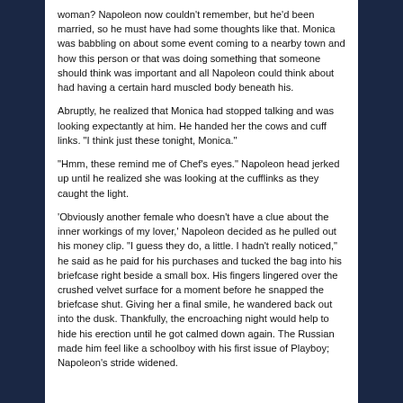woman? Napoleon now couldn't remember, but he'd been married, so he must have had some thoughts like that. Monica was babbling on about some event coming to a nearby town and how this person or that was doing something that someone should think was important and all Napoleon could think about had having a certain hard muscled body beneath his.
Abruptly, he realized that Monica had stopped talking and was looking expectantly at him. He handed her the cows and cuff links. "I think just these tonight, Monica."
"Hmm, these remind me of Chef's eyes." Napoleon head jerked up until he realized she was looking at the cufflinks as they caught the light.
'Obviously another female who doesn't have a clue about the inner workings of my lover,' Napoleon decided as he pulled out his money clip. "I guess they do, a little. I hadn't really noticed," he said as he paid for his purchases and tucked the bag into his briefcase right beside a small box. His fingers lingered over the crushed velvet surface for a moment before he snapped the briefcase shut. Giving her a final smile, he wandered back out into the dusk. Thankfully, the encroaching night would help to hide his erection until he got calmed down again. The Russian made him feel like a schoolboy with his first issue of Playboy; Napoleon's stride widened.